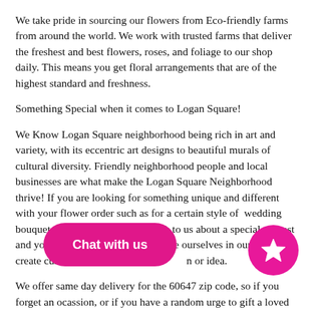We take pride in sourcing our flowers from Eco-friendly farms from around the world. We work with trusted farms that deliver the freshest and best flowers, roses, and foliage to our shop daily. This means you get floral arrangements that are of the highest standard and freshness.
Something Special when it comes to Logan Square!
We Know Logan Square neighborhood being rich in art and variety, with its eccentric art designs to beautiful murals of cultural diversity. Friendly neighborhood people and local businesses are what make the Logan Square Neighborhood thrive! If you are looking for something unique and different with your flower order such as for a certain style of wedding bouquet or a birthday gift, then talk to us about a special request and your ideas for such gift. We pride ourselves in our ability to create custom orders and designs based on any vision or idea.
We offer same day delivery for the 60647 zip code, so if you forget an ocassion, or if you have a random urge to gift a loved one and